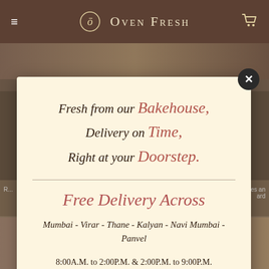Oven Fresh
[Figure (screenshot): Bakery website modal popup on a dark-themed background showing product images]
Fresh from our Bakehouse, Delivery on Time, Right at your Doorstep.
Free Delivery Across
Mumbai - Virar - Thane - Kalyan - Navi Mumbai - Panvel
8:00A.M. to 2:00P.M. & 2:00P.M. to 9:00P.M.
T &C Apply*